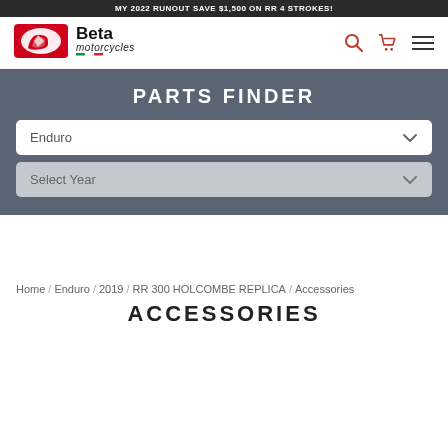MY 2022 RUNOUT SAVE $1,500 ON RR 4 STROKES!
[Figure (logo): Beta Motorcycles logo with red shield and stylized B, black Beta text, and motorcycles script with Italian flag colors underline]
PARTS FINDER
Enduro
Select Year
Home / Enduro / 2019 / RR 300 HOLCOMBE REPLICA / Accessories
ACCESSORIES